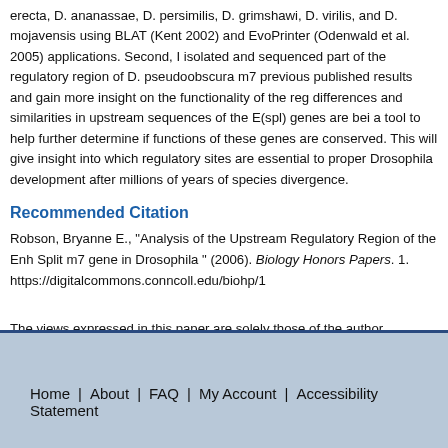erecta, D. ananassae, D. persimilis, D. grimshawi, D. virilis, and D. mojavensis using BLAT (Kent 2002) and EvoPrinter (Odenwald et al. 2005) applications. Second, I isolated and sequenced part of the regulatory region of D. pseudoobscura m7 previous published results and gain more insight on the functionality of the reg differences and similarities in upstream sequences of the E(spl) genes are bei a tool to help further determine if functions of these genes are conserved. This will give insight into which regulatory sites are essential to proper Drosophila development after millions of years of species divergence.
Recommended Citation
Robson, Bryanne E., "Analysis of the Upstream Regulatory Region of the Enh Split m7 gene in Drosophila " (2006). Biology Honors Papers. 1. https://digitalcommons.conncoll.edu/biohp/1
The views expressed in this paper are solely those of the author.
Home | About | FAQ | My Account | Accessibility Statement